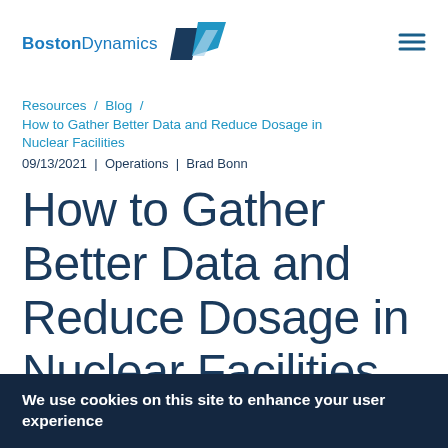Boston Dynamics
Resources / Blog / How to Gather Better Data and Reduce Dosage in Nuclear Facilities 09/13/2021 | Operations | Brad Bonn
How to Gather Better Data and Reduce Dosage in Nuclear Facilities
Spot, an agile mobile robot, helps the nuclear
We use cookies on this site to enhance your user experience